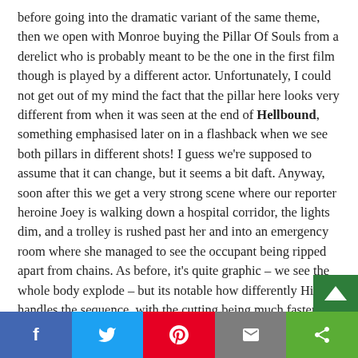before going into the dramatic variant of the same theme, then we open with Monroe buying the Pillar Of Souls from a derelict who is probably meant to be the one in the first film though is played by a different actor. Unfortunately, I could not get out of my mind the fact that the pillar here looks very different from when it was seen at the end of Hellbound, something emphasised later on in a flashback when we see both pillars in different shots! I guess we're supposed to assume that it can change, but it seems a bit daft. Anyway, soon after this we get a very strong scene where our reporter heroine Joey is walking down a hospital corridor, the lights dim, and a trolley is rushed past her and into an emergency room where she managed to see the occupant being ripped apart from chains. As before, it's quite graphic – we see the whole body explode – but its notable how differently Hickox handles the sequence, with the cutting being much faster and in the way that m…
f | Twitter | Pinterest | Email | Share